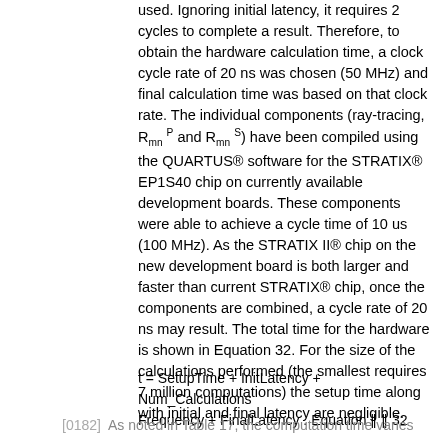used. Ignoring initial latency, it requires 2 cycles to complete a result. Therefore, to obtain the hardware calculation time, a clock cycle rate of 20 ns was chosen (50 MHz) and final calculation time was based on that clock rate. The individual components (ray-tracing, R_mn^P and R_mn^S) have been compiled using the QUARTUS® software for the STRATIX® EP1S40 chip on currently available development boards. These components were able to achieve a cycle time of 10 us (100 MHz). As the STRATIX II® chip on the new development board is both larger and faster than current STRATIX® chip, once the components are combined, a cycle rate of 20 ns may result. The total time for the hardware is shown in Equation 32. For the size of the calculations performed (the smallest requires 7 million computations) the setup time along with initial and final latency are negligible.
As noted in Table 17, the computation time varies